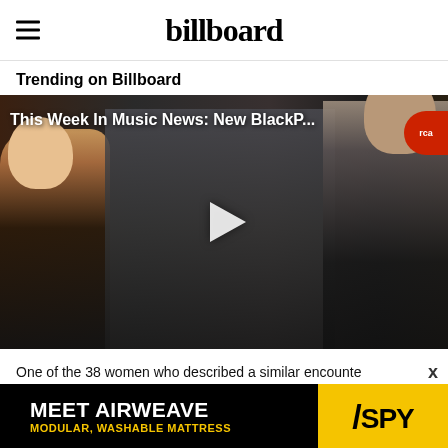billboard
Trending on Billboard
[Figure (screenshot): Video thumbnail showing multiple artists including Britney Spears and BLACKPINK members with a play button overlay. Title reads: This Week In Music News: New BlackP...]
One of the 38 women who described a similar encounte
[Figure (other): Advertisement banner for Airweave: MEET AIRWEAVE / MODULAR, WASHABLE MATTRESS with SPY logo]